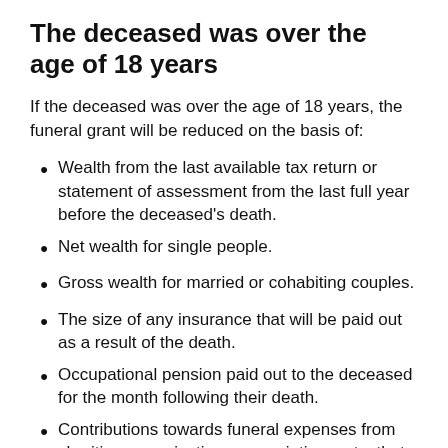The deceased was over the age of 18 years
If the deceased was over the age of 18 years, the funeral grant will be reduced on the basis of:
Wealth from the last available tax return or statement of assessment from the last full year before the deceased's death.
Net wealth for single people.
Gross wealth for married or cohabiting couples.
The size of any insurance that will be paid out as a result of the death.
Occupational pension paid out to the deceased for the month following their death.
Contributions towards funeral expenses from charities, organisations, associations, etc. that are